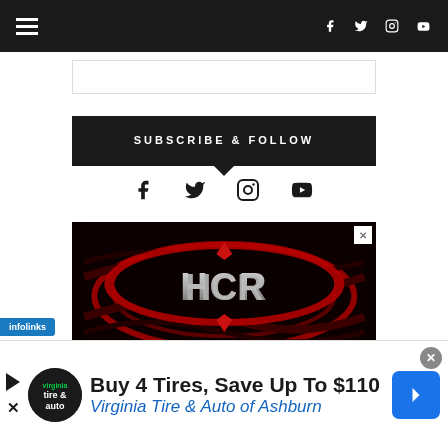Navigation bar with hamburger menu and social icons (Facebook, Twitter, Instagram, YouTube)
[Figure (screenshot): White input/search bar area below navigation]
SUBSCRIBE & FOLLOW
[Figure (infographic): Social media icons row: Facebook, Twitter, Instagram, YouTube]
[Figure (logo): HCR Suspension advertisement banner with red and silver logo on dark background and SUSPENSION text]
infolinks
Buy 4 Tires, Save Up To $110
Virginia Tire & Auto of Ashburn